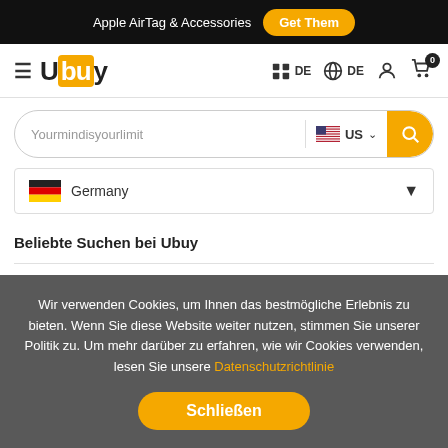Apple AirTag & Accessories  Get Them
[Figure (logo): Ubuy logo with hamburger menu icon]
DE  DE
Yourmindisyourlimit  US
Germany
Beliebte Suchen bei Ubuy
Handy Und Tablet • Mode • Elektronik • Parfüms • Schönheitspflege • Werkzeuge • Videospiele • Jeans Für Jungen
Wir verwenden Cookies, um Ihnen das bestmögliche Erlebnis zu bieten. Wenn Sie diese Website weiter nutzen, stimmen Sie unserer Politik zu. Um mehr darüber zu erfahren, wie wir Cookies verwenden, lesen Sie unsere Datenschutzrichtlinie
Schließen